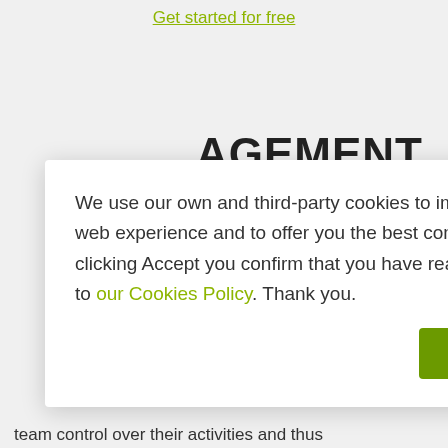Get started for free
AGEMENT
We use our own and third-party cookies to improve your web experience and to offer you the best content. By clicking Accept you confirm that you have read and agree to our Cookies Policy. Thank you.
v chart is a tool for project to boost its anagers in displaying t graphically.
f the proper order of goals of the project. A hart offers the project team control over their activities and thus